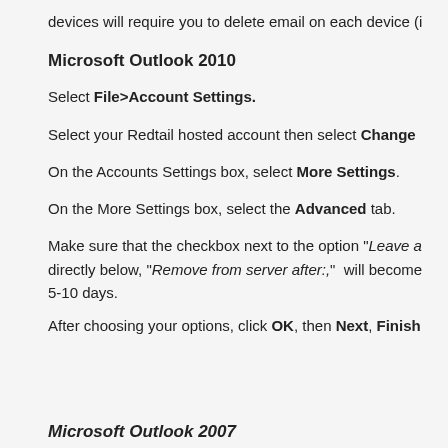devices will require you to delete email on each device (i
Microsoft Outlook 2010
Select File>Account Settings.
Select your Redtail hosted account then select Change
On the Accounts Settings box, select More Settings.
On the More Settings box, select the Advanced tab.
Make sure that the checkbox next to the option "Leave a directly below, "Remove from server after:," will become 5-10 days.
After choosing your options, click OK, then Next, Finish
Microsoft Outlook 2007